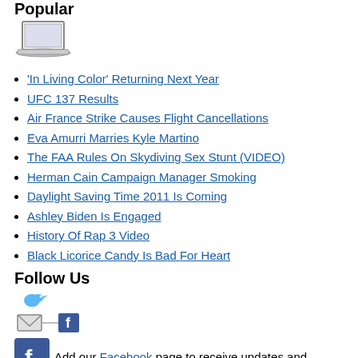Popular
[Figure (illustration): Laptop computer icon]
'In Living Color' Returning Next Year
UFC 137 Results
Air France Strike Causes Flight Cancellations
Eva Amurri Marries Kyle Martino
The FAA Rules On Skydiving Sex Stunt (VIDEO)
Herman Cain Campaign Manager Smoking
Daylight Saving Time 2011 Is Coming
Ashley Biden Is Engaged
History Of Rap 3 Video
Black Licorice Candy Is Bad For Heart
Follow Us
[Figure (illustration): Social media icons: Twitter bird, email, Facebook]
[Figure (illustration): Facebook logo icon]
Add our Facebook page to receive updates and